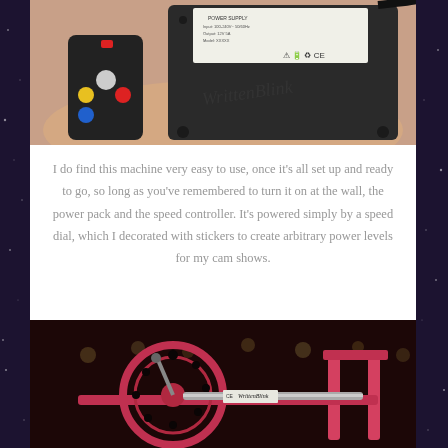[Figure (photo): Photo of a hand holding a small black remote controller with colored buttons (yellow, white/grey, blue, red) alongside a black rectangular power supply unit with label and CE marking]
I do find this machine very easy to use, once it's all set up and ready to go, so long as you've remembered to turn it on at the wall, the power pack and the speed controller. It's powered simply by a speed dial, which I decorated with stickers to create arbitrary power levels for my cam shows.
[Figure (photo): Photo of a red/pink sex machine (appears to be a motorized device with a circular wheel mechanism on a frame with legs) with a CE marking label and brand name visible, set against a dark background with string lights]